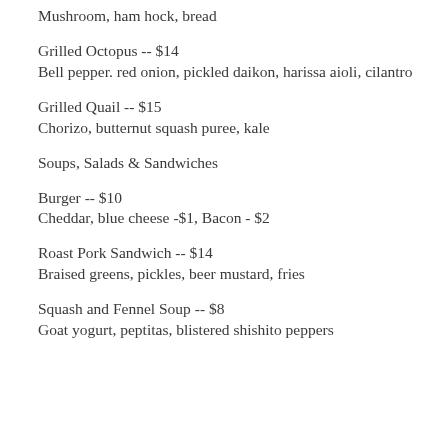Mushroom, ham hock, bread
Grilled Octopus -- $14
Bell pepper. red onion, pickled daikon, harissa aioli, cilantro
Grilled Quail -- $15
Chorizo, butternut squash puree, kale
Soups, Salads & Sandwiches
Burger -- $10
Cheddar, blue cheese -$1, Bacon - $2
Roast Pork Sandwich -- $14
Braised greens, pickles, beer mustard, fries
Squash and Fennel Soup -- $8
Goat yogurt, peptitas, blistered shishito peppers